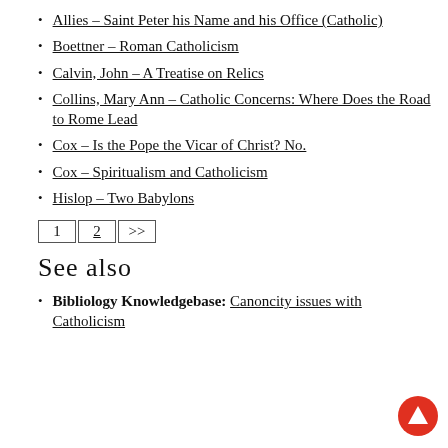Allies – Saint Peter his Name and his Office (Catholic)
Boettner – Roman Catholicism
Calvin, John – A Treatise on Relics
Collins, Mary Ann – Catholic Concerns: Where Does the Road to Rome Lead
Cox – Is the Pope the Vicar of Christ? No.
Cox – Spiritualism and Catholicism
Hislop – Two Babylons
1 2 >>
See also
Bibliology Knowledgebase: Canoncity issues with Catholicism